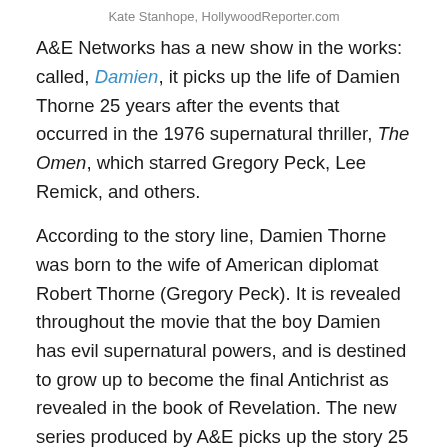Kate Stanhope, HollywoodReporter.com
A&E Networks has a new show in the works: called, Damien, it picks up the life of Damien Thorne 25 years after the events that occurred in the 1976 supernatural thriller, The Omen, which starred Gregory Peck, Lee Remick, and others.
According to the story line, Damien Thorne was born to the wife of American diplomat Robert Thorne (Gregory Peck). It is revealed throughout the movie that the boy Damien has evil supernatural powers, and is destined to grow up to become the final Antichrist as revealed in the book of Revelation. The new series produced by A&E picks up the story 25 years later.
Well, this past weekend, the Comic-Con convention was held in San Diego. Evidently, every year a group of